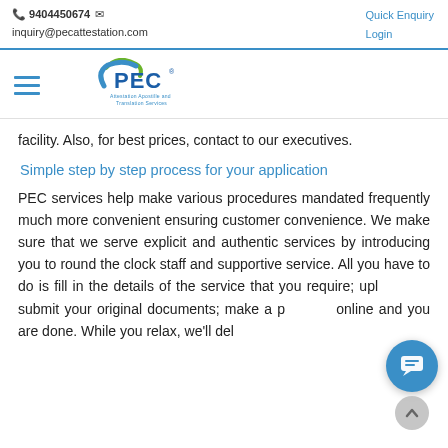📞 9404450674 ✉  inquiry@pecattestation.com    Quick Enquiry  Login
[Figure (logo): PEC Attestation, Apostille and Translation Services logo with green swoosh and blue text]
facility. Also, for best prices, contact to our executives.
Simple step by step process for your application
PEC services help make various procedures mandated frequently much more convenient ensuring customer convenience. We make sure that we serve explicit and authentic services by introducing you to round the clock staff and supportive service. All you have to do is fill in the details of the service that you require; upload and submit your original documents; make a payment online and you are done. While you relax, we'll deliver